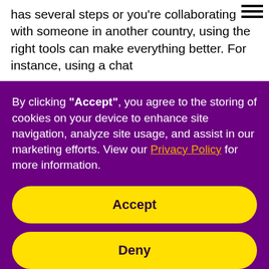has several steps or you're collaborating with someone in another country, using the right tools can make everything better. For instance, using a chat
By clicking "Accept", you agree to the storing of cookies on your device to enhance site navigation, analyze site usage, and assist in our marketing efforts. View our Privacy Policy for more information.
Accept
Deny
Preferences